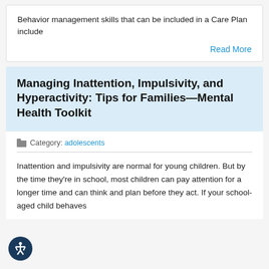Behavior management skills that can be included in a Care Plan include
Read More
Managing Inattention, Impulsivity, and Hyperactivity: Tips for Families—Mental Health Toolkit
Category: adolescents
Inattention and impulsivity are normal for young children. But by the time they're in school, most children can pay attention for a longer time and can think and plan before they act. If your school-aged child behaves